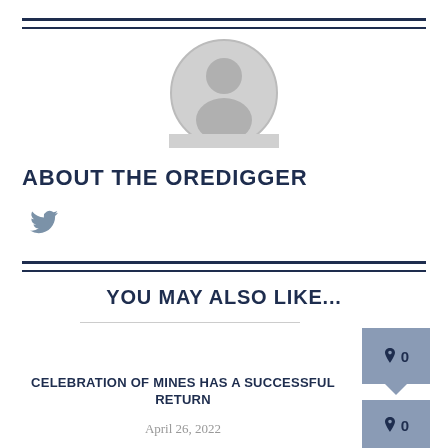[Figure (illustration): Circular gray avatar/profile placeholder icon with silhouette of a person]
ABOUT THE OREDIGGER
[Figure (logo): Twitter bird icon in gray-blue color]
YOU MAY ALSO LIKE...
📌 0
CELEBRATION OF MINES HAS A SUCCESSFUL RETURN
April 26, 2022
📌 0